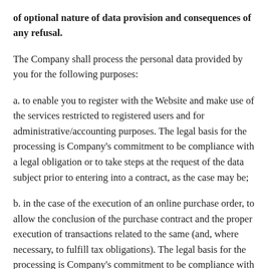of optional nature of data provision and consequences of any refusal.
The Company shall process the personal data provided by you for the following purposes:
a. to enable you to register with the Website and make use of the services restricted to registered users and for administrative/accounting purposes. The legal basis for the processing is Company's commitment to be compliance with a legal obligation or to take steps at the request of the data subject prior to entering into a contract, as the case may be;
b. in the case of the execution of an online purchase order, to allow the conclusion of the purchase contract and the proper execution of transactions related to the same (and, where necessary, to fulfill tax obligations). The legal basis for the processing is Company's commitment to be compliance with a